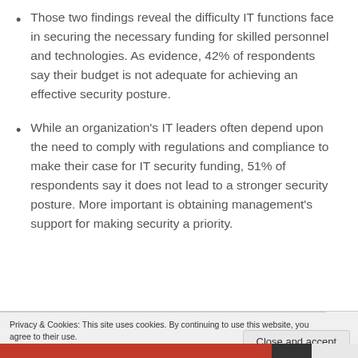Those two findings reveal the difficulty IT functions face in securing the necessary funding for skilled personnel and technologies. As evidence, 42% of respondents say their budget is not adequate for achieving an effective security posture.
While an organization's IT leaders often depend upon the need to comply with regulations and compliance to make their case for IT security funding, 51% of respondents say it does not lead to a stronger security posture. More important is obtaining management's support for making security a priority.
Privacy & Cookies: This site uses cookies. By continuing to use this website, you agree to their use.
To find out more, including how to control cookies, see here: Cookie Policy